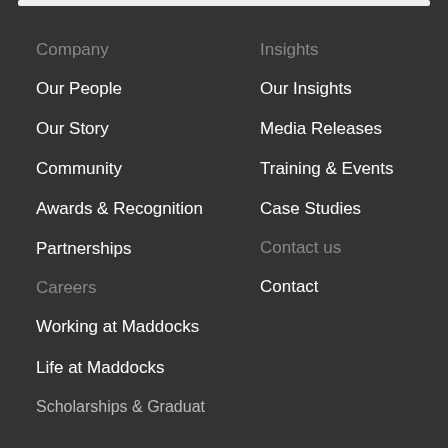Company
Our People
Our Story
Community
Awards & Recognition
Partnerships
Careers
Working at Maddocks
Life at Maddocks
Insights
Our Insights
Media Releases
Training & Events
Case Studies
Contact us
Contact